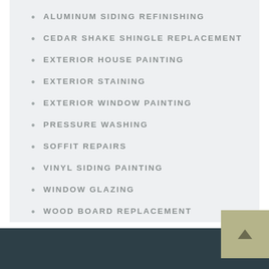ALUMINUM SIDING REFINISHING
CEDAR SHAKE SHINGLE REPLACEMENT
EXTERIOR HOUSE PAINTING
EXTERIOR STAINING
EXTERIOR WINDOW PAINTING
PRESSURE WASHING
SOFFIT REPAIRS
VINYL SIDING PAINTING
WINDOW GLAZING
WOOD BOARD REPLACEMENT
WOOD ROT REPAIR